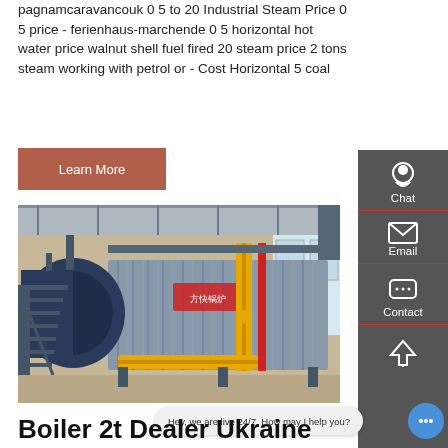pagnamcaravancouk 0 5 to 20 Industrial Steam Price 0 5 price - ferienhaus-marchende 0 5 horizontal hot water price walnut shell fuel fired 20 steam price 2 tons steam working with petrol or - Cost Horizontal 5 coal
Learn More
[Figure (photo): Industrial steam boiler in a factory/warehouse setting. Large horizontal boiler with blue cylindrical drum on the left, yellow gas pipes, metal stairs, and a corrugated metal casing. Chinese manufacturer logo visible on the boiler body.]
Hey, we are live 24/7. How may I help you?
Boiler 2t Dealer Ukraine